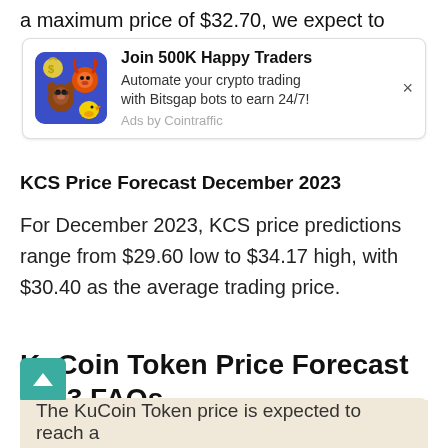a maximum price of $32.70, we expect to
[Figure (other): Advertisement banner: Join 500K Happy Traders. Automate your crypto trading with Bitsgap bots to earn 24/7! Ads by Cointraffic]
KCS Price Forecast December 2023
For December 2023, KCS price predictions range from $29.60 low to $34.17 high, with $30.40 as the average trading price.
KuCoin Token Price Forecast 2023 FAQs
How high can KuCoin Token go in 2023?
The KuCoin Token price is expected to reach a